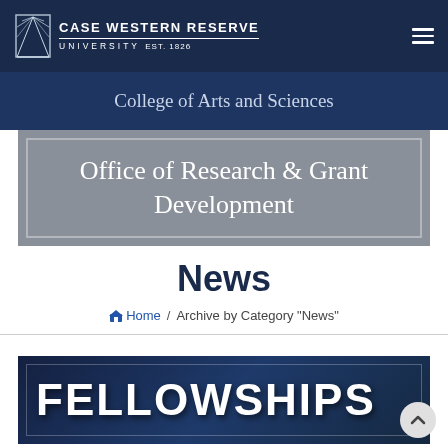Case Western Reserve University EST. 1826
College of Arts and Sciences
Office of Research & Grant Development
News
Home / Archive by Category "News"
[Figure (illustration): FELLOWSHIPS banner image with dark navy background and bold white text]